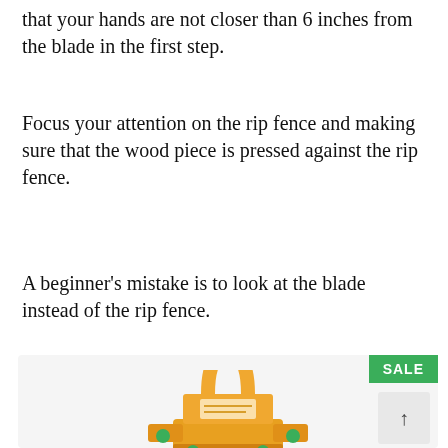that your hands are not closer than 6 inches from the blade in the first step.
Focus your attention on the rip fence and making sure that the wood piece is pressed against the rip fence.
A beginner's mistake is to look at the blade instead of the rip fence.
[Figure (photo): A yellow push block/featherboard tool accessory for a table saw, with green rubber grip points, shown on a light gray product card background with a green SALE badge in the upper right corner.]